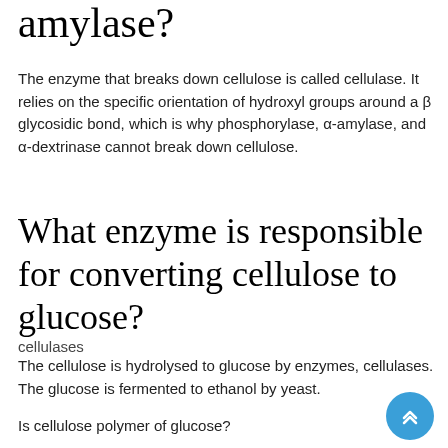amylase?
The enzyme that breaks down cellulose is called cellulase. It relies on the specific orientation of hydroxyl groups around a β glycosidic bond, which is why phosphorylase, α-amylase, and α-dextrinase cannot break down cellulose.
What enzyme is responsible for converting cellulose to glucose?
cellulases
The cellulose is hydrolysed to glucose by enzymes, cellulases. The glucose is fermented to ethanol by yeast.
Is cellulose polymer of glucose?